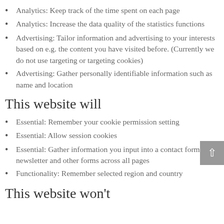Analytics: Keep track of the time spent on each page
Analytics: Increase the data quality of the statistics functions
Advertising: Tailor information and advertising to your interests based on e.g. the content you have visited before. (Currently we do not use targeting or targeting cookies)
Advertising: Gather personally identifiable information such as name and location
This website will
Essential: Remember your cookie permission setting
Essential: Allow session cookies
Essential: Gather information you input into a contact forms newsletter and other forms across all pages
Functionality: Remember selected region and country
This website won't